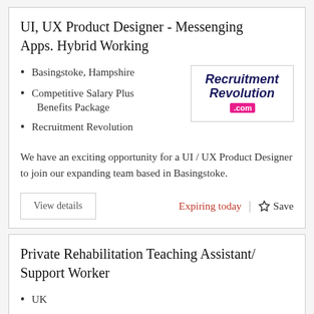UI, UX Product Designer - Messenging Apps. Hybrid Working
Basingstoke, Hampshire
Competitive Salary Plus Benefits Package
Recruitment Revolution
[Figure (logo): Recruitment Revolution .com logo with stylized italic text and pink .com badge]
We have an exciting opportunity for a UI / UX Product Designer to join our expanding team based in Basingstoke.
View details | Expiring today | Save
Private Rehabilitation Teaching Assistant/ Support Worker
UK
Competitive
G & R Case Management Services